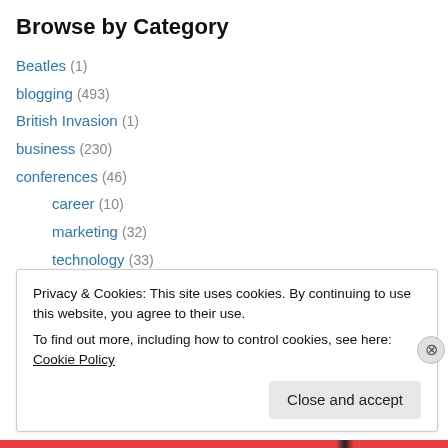Browse by Category
Beatles (1)
blogging (493)
British Invasion (1)
business (230)
conferences (46)
career (10)
marketing (32)
technology (33)
women (6)
facebook (27)
life (471)
Privacy & Cookies: This site uses cookies. By continuing to use this website, you agree to their use. To find out more, including how to control cookies, see here: Cookie Policy
Close and accept